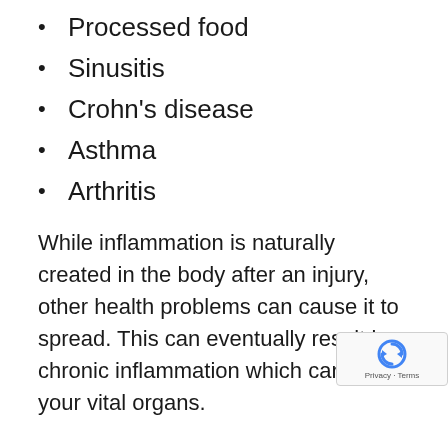Processed food
Sinusitis
Crohn's disease
Asthma
Arthritis
While inflammation is naturally created in the body after an injury, other health problems can cause it to spread. This can eventually result in chronic inflammation which can attack your vital organs.
Symptoms of Inflammation